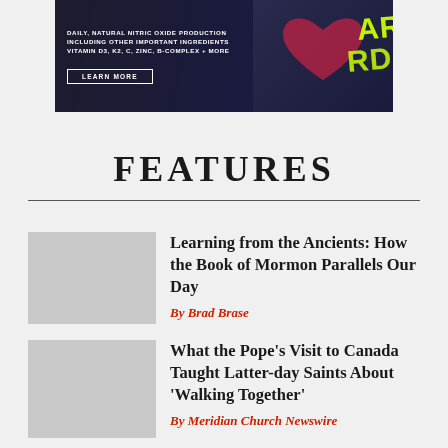[Figure (photo): Advertisement banner for a supplement product called CARDIO with text about daily natural nitric oxide production, vitamin D3, K2, C, zinc, B-complex + more, with a Learn More button and supplement bottles on the right]
FEATURES
Learning from the Ancients: How the Book of Mormon Parallels Our Day
By Brad Brase
What the Pope's Visit to Canada Taught Latter-day Saints About 'Walking Together'
By Meridian Church Newswire